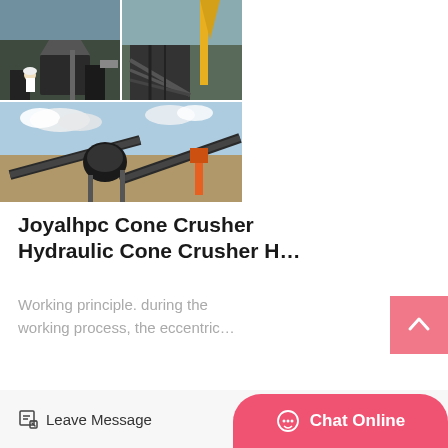[Figure (photo): Collage of industrial cone crusher and conveyor belt equipment images: top-left shows a cone crusher with a worker in white hard hat, top-right shows construction equipment and steel structure, bottom shows an outdoor mining/crushing plant with conveyor belts against a cloudy sky.]
Joyalhpc Cone Crusher Hydraulic Cone Crusher H…
Working principle. during the working process, the eccentric…
Get Price
Leave Message
Chat Online